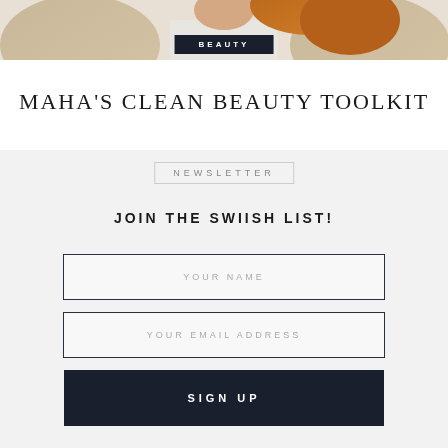[Figure (photo): Partial view of a woman with auburn hair wearing a beige knit cardigan, cropped at the top of the page]
BEAUTY
MAHA'S CLEAN BEAUTY TOOLKIT
NEWSLETTER
JOIN THE SWIISH LIST!
YOUR NAME
YOUR EMAIL ADDRESS
SIGN UP